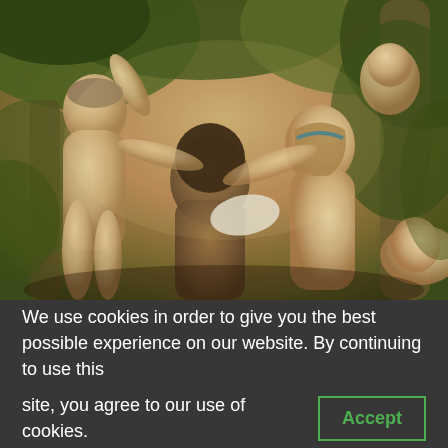[Figure (illustration): A classical oil painting depicting mythological figures — nymphs and a satyr — in a forest setting. Several nude or partially draped figures are intertwined, rendered in a warm, academic realist style reminiscent of William-Adolphe Bouguereau.]
We use cookies in order to give you the best possible experience on our website. By continuing to use this site, you agree to our use of cookies.